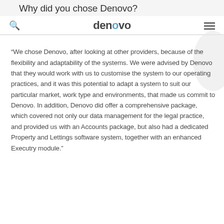Why did you chose Denovo?
denovo
“We chose Denovo, after looking at other providers, because of the flexibility and adaptability of the systems. We were advised by Denovo that they would work with us to customise the system to our operating practices, and it was this potential to adapt a system to suit our particular market, work type and environments, that made us commit to Denovo. In addition, Denovo did offer a comprehensive package, which covered not only our data management for the legal practice, and provided us with an Accounts package, but also had a dedicated Property and Lettings software system, together with an enhanced Executry module.”